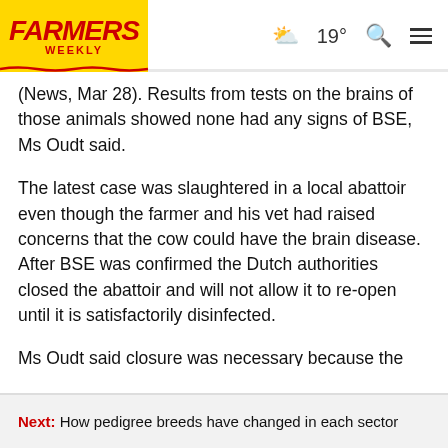FARMERS WEEKLY | 19° [search] [menu]
(News, Mar 28). Results from tests on the brains of those animals showed none had any signs of BSE, Ms Oudt said.
The latest case was slaughtered in a local abattoir even though the farmer and his vet had raised concerns that the cow could have the brain disease. After BSE was confirmed the Dutch authorities closed the abattoir and will not allow it to re-open until it is satisfactorily disinfected.
Ms Oudt said closure was necessary because the BSE-infected cows spinal cord had been cut in the slaughterhouse so disinfection was needed for public health
Next: How pedigree breeds have changed in each sector